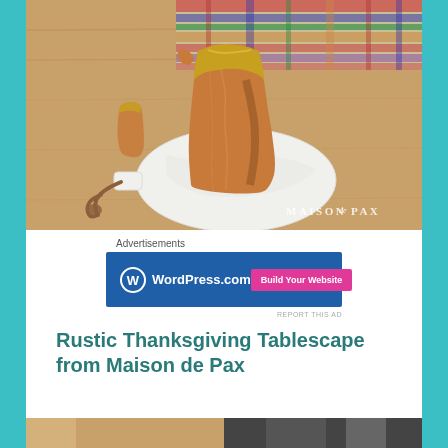[Figure (photo): A copper hammered pitcher/carafe sitting on a round white marble board with a leather strap, placed on a wooden table with a colorful plaid textile in the background. Watermark reads MAISON de PAX in the bottom right corner.]
Advertisements
[Figure (screenshot): WordPress.com advertisement banner with blue background showing WordPress logo and 'WordPress.com' text on the left, and a pink 'Build Your Website' button on the right.]
REPORT THIS AD
Rustic Thanksgiving Tablescape from Maison de Pax
[Figure (photo): Partial view of another photo at the bottom of the page showing what appears to be a Thanksgiving tablescape setting.]